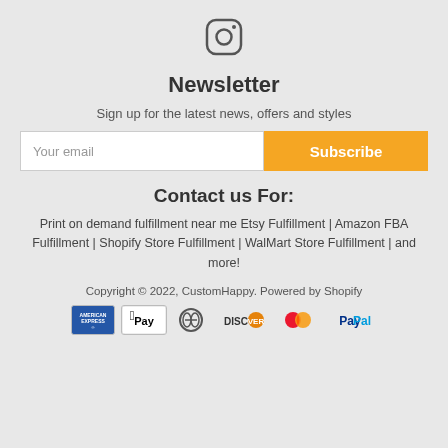[Figure (logo): Instagram icon (camera outline square with rounded corners and circle in center)]
Newsletter
Sign up for the latest news, offers and styles
Your email | Subscribe
Contact us For:
Print on demand fulfillment near me Etsy Fulfillment | Amazon FBA Fulfillment | Shopify Store Fulfillment | WalMart Store Fulfillment | and more!
Copyright © 2022, CustomHappy. Powered by Shopify
[Figure (logo): Payment method logos: American Express, Apple Pay, Diners Club, Discover, Mastercard, PayPal]